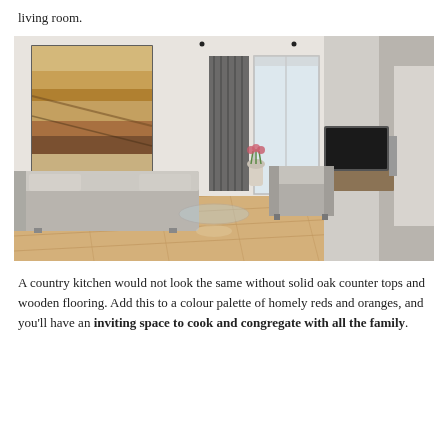living room.
[Figure (photo): A modern minimalist living room with a grey sofa, abstract painting on the wall, glass coffee table, grey armchair, TV unit, hardwood floors, and large windows with natural light.]
A country kitchen would not look the same without solid oak counter tops and wooden flooring. Add this to a colour palette of homely reds and oranges, and you'll have an inviting space to cook and congregate with all the family.